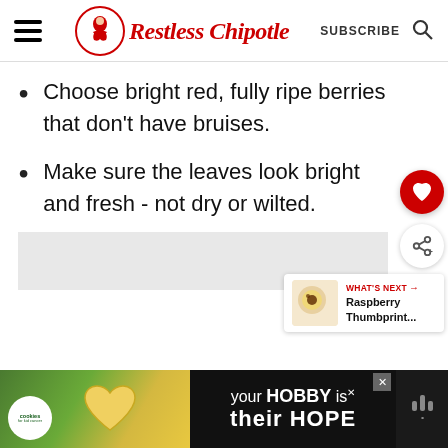Restless Chipotle — SUBSCRIBE
Choose bright red, fully ripe berries that don't have bruises.
Make sure the leaves look bright and fresh - not dry or wilted.
[Figure (screenshot): Restless Chipotle website screenshot showing navigation header with hamburger menu, logo, SUBSCRIBE text, search icon, two bullet-point list items about choosing strawberries, a heart favorite button, a share button, a What's Next widget showing Raspberry Thumbprint..., a grey image placeholder, and an advertisement banner for cookies for kid cancer showing 'your HOBBY is their HOPE']